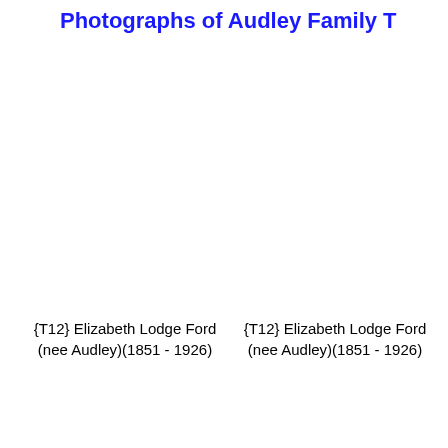Photographs of Audley Family T
{T12} Elizabeth Lodge Ford (nee Audley)(1851 - 1926)
{T12} Elizabeth Lodge Ford (nee Audley)(1851 - 1926)